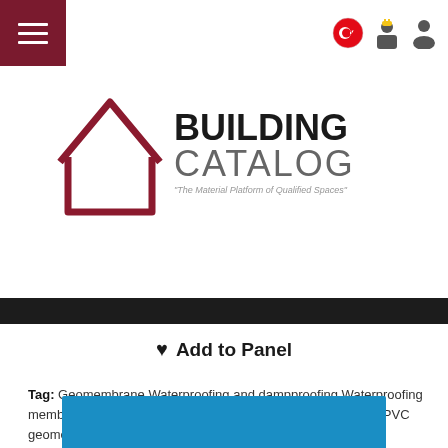Building Catalog - The Material Platform of Qualified Spaces
[Figure (logo): Building Catalog logo with house outline in dark red and bold text BUILDING CATALOG with tagline 'The Material Platform of Qualified Spaces']
♥ Add to Panel
Tag: Geomembrane Waterproofing and dampproofing Waterproofing membrane Foundation insulation Membrane PVC membrane PVC geomembrane Waterproofing
[Figure (other): Blue banner at bottom of page]